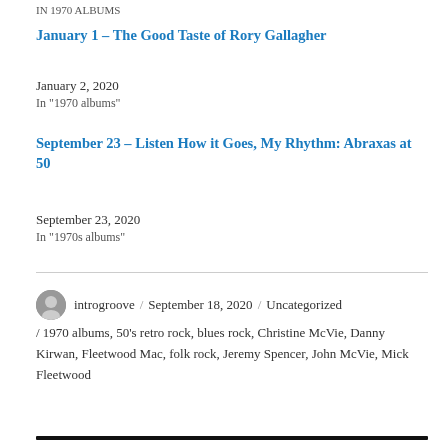IN 1970 ALBUMS
January 1 – The Good Taste of Rory Gallagher
January 2, 2020
In "1970 albums"
September 23 – Listen How it Goes, My Rhythm: Abraxas at 50
September 23, 2020
In "1970s albums"
introgroove / September 18, 2020 / Uncategorized / 1970 albums, 50's retro rock, blues rock, Christine McVie, Danny Kirwan, Fleetwood Mac, folk rock, Jeremy Spencer, John McVie, Mick Fleetwood